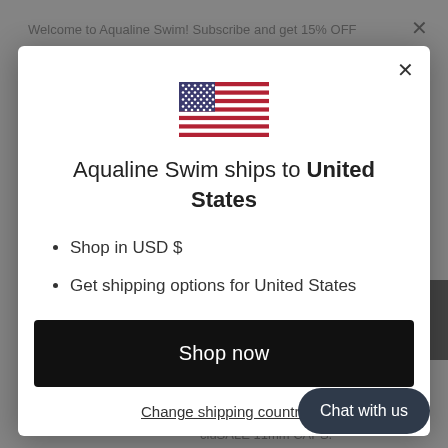Welcome to Aqualine Swim! Subscribe and get 15% OFF
[Figure (illustration): US flag SVG illustration inside modal dialog]
Aqualine Swim ships to United States
Shop in USD $
Get shipping options for United States
Shop now
Change shipping country
Chat with us